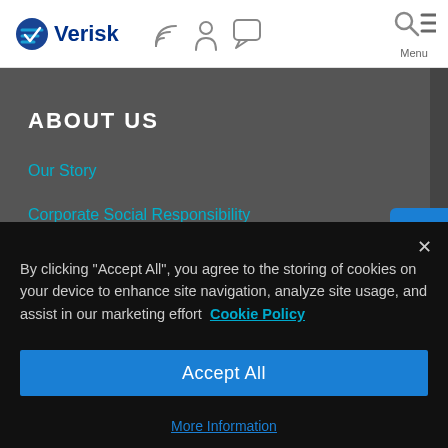[Figure (logo): Verisk logo with checkmark icon and company name in dark blue, followed by navigation icons (RSS feed, person, chat bubble, search, hamburger menu)]
ABOUT US
Our Story
Corporate Social Responsibility
Media Center
Who We Serve
By clicking "Accept All", you agree to the storing of cookies on your device to enhance site navigation, analyze site usage, and assist in our marketing effort  Cookie Policy
Accept All
More Information